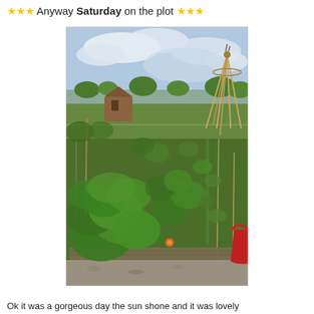★★★ Anyway Saturday on the plot ★★★
[Figure (photo): Allotment garden plot with raised beds containing leafy green plants, bean poles, a wooden teepee trellis structure in the background right, a red bucket on the right edge, a wooden shed in the background, and a cloudy sky above.]
Ok it was a gorgeous day the sun shone and it was lovely